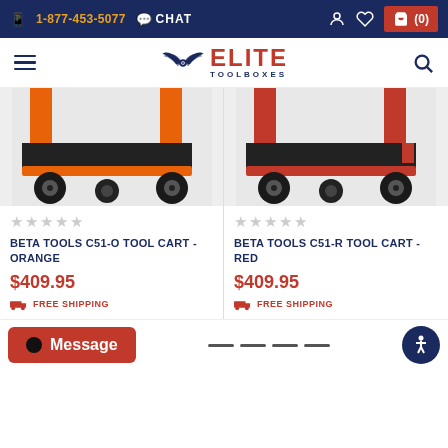1-877-453-5077 | CHAT | (0)
[Figure (logo): Elite Toolboxes logo with wing emblem]
[Figure (photo): Beta Tools C51-O Tool Cart in Orange, bottom portion showing wheels and lower shelf]
[Figure (photo): Beta Tools C51-R Tool Cart in Red, bottom portion showing wheels and lower shelf]
★★★★★ (empty stars) BETA TOOLS C51-O TOOL CART - ORANGE $409.95 FREE SHIPPING
★★★★★ (empty stars) BETA TOOLS C51-R TOOL CART - RED $409.95 FREE SHIPPING
Message | pagination | Accessibility